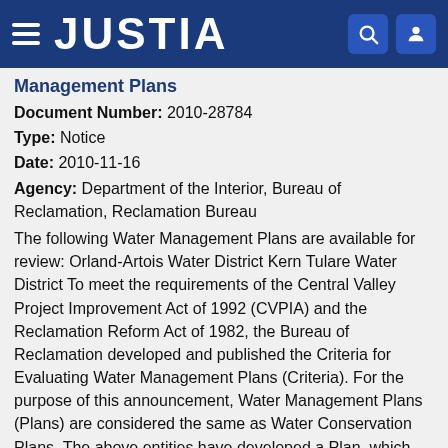JUSTIA
Management Plans
Document Number: 2010-28784
Type: Notice
Date: 2010-11-16
Agency: Department of the Interior, Bureau of Reclamation, Reclamation Bureau
The following Water Management Plans are available for review: Orland-Artois Water District Kern Tulare Water District To meet the requirements of the Central Valley Project Improvement Act of 1992 (CVPIA) and the Reclamation Reform Act of 1982, the Bureau of Reclamation developed and published the Criteria for Evaluating Water Management Plans (Criteria). For the purpose of this announcement, Water Management Plans (Plans) are considered the same as Water Conservation Plans. The above entities have developed a Plan, which Reclamation has evaluated and preliminarily